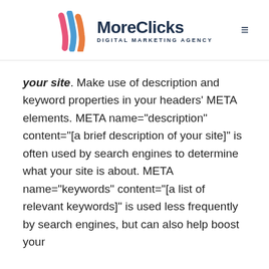MoreClicks DIGITAL MARKETING AGENCY
your site. Make use of description and keyword properties in your headers' META elements. META name="description" content="[a brief description of your site]" is often used by search engines to determine what your site is about. META name="keywords" content="[a list of relevant keywords]" is used less frequently by search engines, but can also help boost your